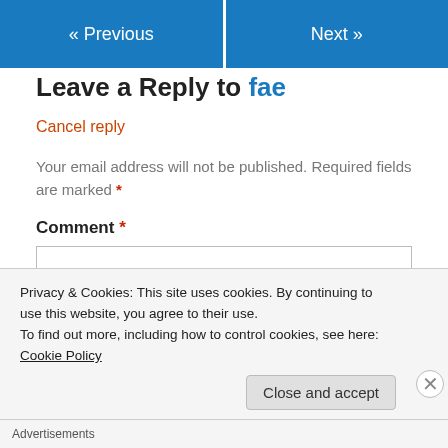« Previous   Next »
Leave a Reply to fae
Cancel reply
Your email address will not be published. Required fields are marked *
Comment *
Privacy & Cookies: This site uses cookies. By continuing to use this website, you agree to their use.
To find out more, including how to control cookies, see here: Cookie Policy
Advertisements